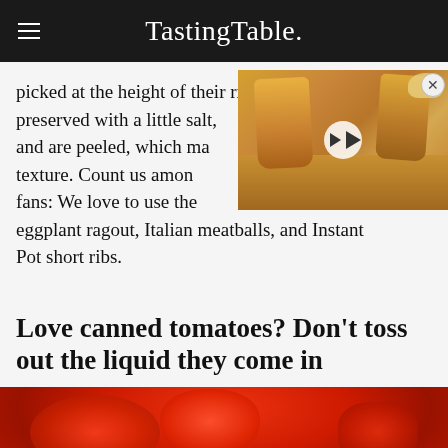Tasting Table.
picked at the height of their ripeness, preserved with a little salt, blended, and are peeled, which makes for a tender texture. Count us among the big fans: We love to use them in eggplant ragout, Italian meatballs, and Instant Pot short ribs.
[Figure (photo): Video thumbnail showing battered fish and chips with lemon and dipping sauce, with a play button overlay and close button]
Love canned tomatoes? Don't toss out the liquid they come in
[Figure (photo): Close-up photo of crushed canned tomatoes in a white bowl, showing a deep red chunky sauce]